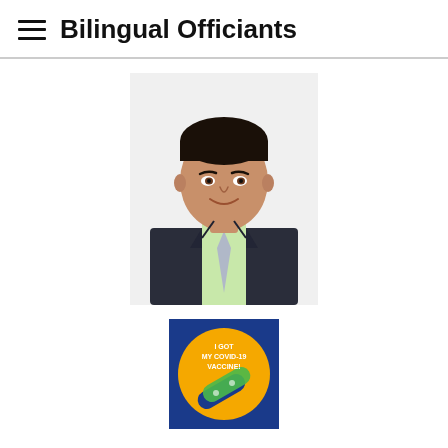Bilingual Officiants
[Figure (photo): Headshot of a man in a dark suit with a light green shirt and grey tie, smiling, on a white background.]
[Figure (illustration): Square badge with blue background and orange circle containing text 'I GOT MY COVID-19 VACCINE!' with a blue and green checkmark bandage logo.]
Ruben is a Non-Denominational Minister. When he started officiating weddings everyone sensed his ability to skillfully conduct a wonderful wedding ceremony. Ruben is honored to be an integral part of